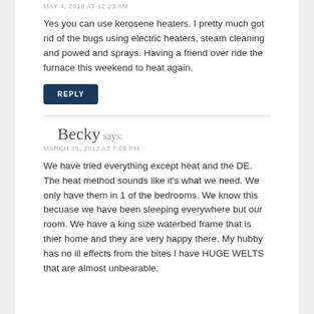MAY 4, 2016 AT 12:20 AM
Yes you can use kerosene heaters. I pretty much got rid of the bugs using electric heaters, steam cleaning and powed and sprays. Having a friend over ride the furnace this weekend to heat again.
REPLY
Becky says:
MARCH 25, 2013 AT 7:08 PM
We have tried everything except heat and the DE. The heat method sounds like it's what we need. We only have them in 1 of the bedrooms. We know this becuase we have been sleeping everywhere but our room. We have a king size waterbed frame that is thier home and they are very happy there. My hubby has no ill effects from the bites I have HUGE WELTS that are almost unbearable.